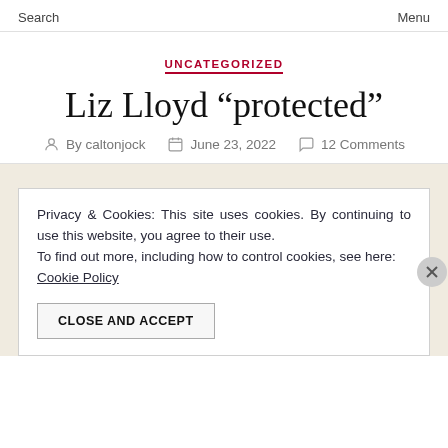Search  Menu
UNCATEGORIZED
Liz Lloyd “protected”
By caltonjock  June 23, 2022  12 Comments
Privacy & Cookies: This site uses cookies. By continuing to use this website, you agree to their use.
To find out more, including how to control cookies, see here: Cookie Policy
CLOSE AND ACCEPT